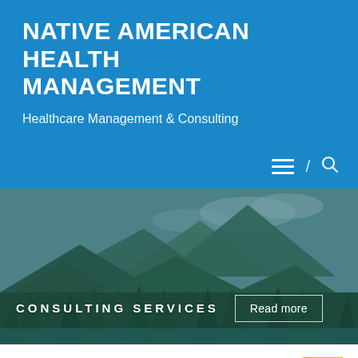NATIVE AMERICAN HEALTH MANAGEMENT
Healthcare Management & Consulting
[Figure (screenshot): Navigation bar with hamburger menu icon, slash separator, and search icon on blue background]
[Figure (photo): Mountain and forest landscape with teal/green overlay. Text overlay reads CONSULTING SERVICES with a Read more button.]
OUR PROJECTS
We have been involved and are currently involved in many